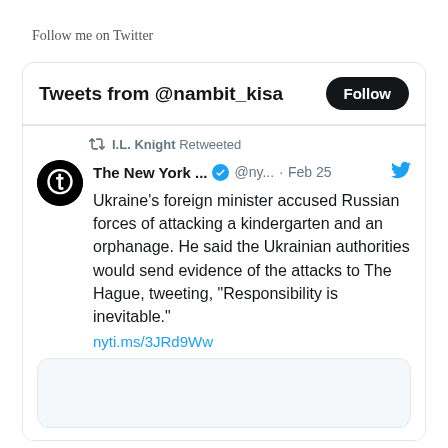Follow me on Twitter
[Figure (screenshot): Twitter widget showing 'Tweets from @nambit_kisa' with a Follow button. Contains a retweet by I.L. Knight of a New York Times tweet dated Feb 25: 'Ukraine's foreign minister accused Russian forces of attacking a kindergarten and an orphanage. He said the Ukrainian authorities would send evidence of the attacks to The Hague, tweeting, "Responsibility is inevitable."' with link nyti.ms/3JRd9Ww and a partial image preview below.]